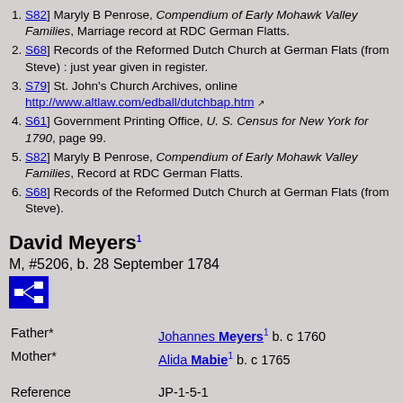[S82] Maryly B Penrose, Compendium of Early Mohawk Valley Families, Marriage record at RDC German Flatts.
[S68] Records of the Reformed Dutch Church at German Flats (from Steve) : just year given in register.
[S79] St. John's Church Archives, online http://www.altlaw.com/edball/dutchbap.htm
[S61] Government Printing Office, U. S. Census for New York for 1790, page 99.
[S82] Maryly B Penrose, Compendium of Early Mohawk Valley Families, Record at RDC German Flatts.
[S68] Records of the Reformed Dutch Church at German Flats (from Steve).
David Meyers
M, #5206, b. 28 September 1784
| Field | Value |
| --- | --- |
| Father* | Johannes Meyers b. c 1760 |
| Mother* | Alida Mabie b. c 1765 |
| Reference | JP-1-5-1 |
| Name Variation | David Meyers was also |